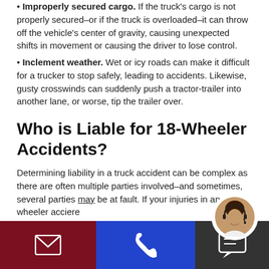Improperly secured cargo. If the truck's cargo is not properly secured–or if the truck is overloaded–it can throw off the vehicle's center of gravity, causing unexpected shifts in movement or causing the driver to lose control.
Inclement weather. Wet or icy roads can make it difficult for a trucker to stop safely, leading to accidents. Likewise, gusty crosswinds can suddenly push a tractor-trailer into another lane, or worse, tip the trailer over.
Who is Liable for 18-Wheeler Accidents?
Determining liability in a truck accident can be complex as there are often multiple parties involved–and sometimes, several parties may be at fault. If your injuries in an 18-wheeler acci­dere